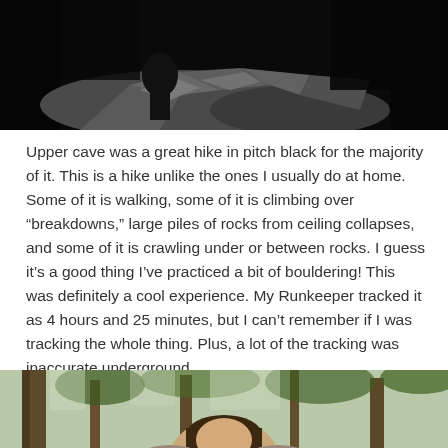[Figure (photo): Dark cave interior with rocks and boulders in pitch black surroundings]
Upper cave was a great hike in pitch black for the majority of it. This is a hike unlike the ones I usually do at home. Some of it is walking, some of it is climbing over “breakdowns,” large piles of rocks from ceiling collapses, and some of it is crawling under or between rocks. I guess it’s a good thing I’ve practiced a bit of bouldering! This was definitely a cool experience. My Runkeeper tracked it as 4 hours and 25 minutes, but I can’t remember if I was tracking the whole thing. Plus, a lot of the tracking was inaccurate underground.
[Figure (photo): Person standing among trees in a forested area, head and shoulders visible at bottom of page]